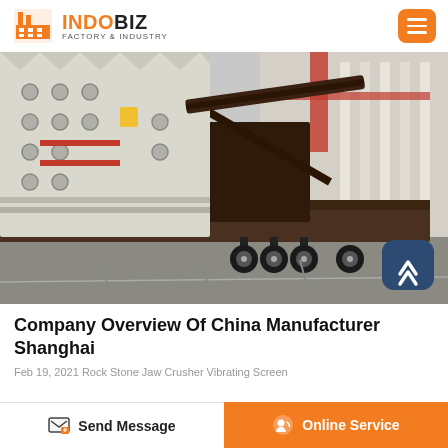INDOBIZ FACTORY & INDUSTRY
[Figure (photo): Industrial mobile jaw crusher machine on a heavy-duty flatbed trailer inside a large factory/warehouse. The crusher unit is white/grey and mounted on a dark brown steel frame with multiple axles and wheels.]
Company Overview Of China Manufacturer Shanghai
Feb 19, 2021 Rock Stone Jaw Crusher Vibrating Screen
Send Message  |  Online Service